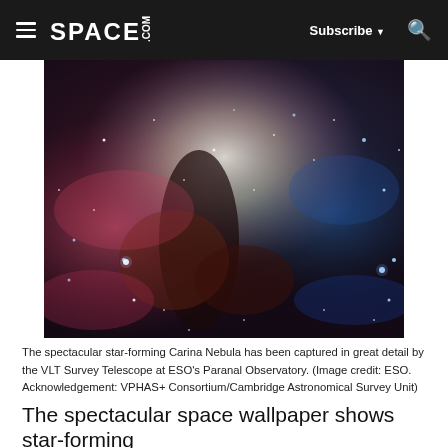SPACE.com — Subscribe — Search
[Figure (photo): The spectacular star-forming Carina Nebula — a vivid nebula image with red, pink, deep blue-green, and white gas clouds filled with bright stars, captured by the VLT Survey Telescope at ESO's Paranal Observatory.]
The spectacular star-forming Carina Nebula has been captured in great detail by the VLT Survey Telescope at ESO's Paranal Observatory. (Image credit: ESO. Acknowledgement: VPHAS+ Consortium/Cambridge Astronomical Survey Unit)
The spectacular space wallpaper shows star-forming